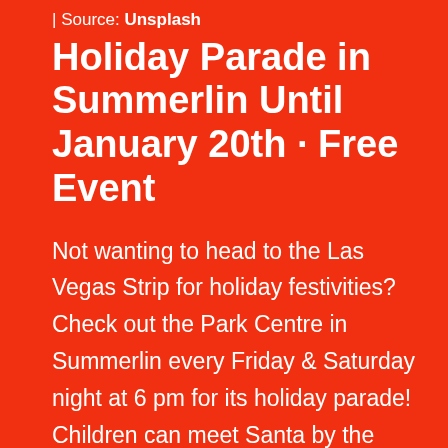| Source: Unsplash
Holiday Parade in Summerlin Until January 20th · Free Event
Not wanting to head to the Las Vegas Strip for holiday festivities? Check out the Park Centre in Summerlin every Friday & Saturday night at 6 pm for its holiday parade! Children can meet Santa by the Macy's, and make a stop by the Rock Rink for some ice skating!
Photographer: Kelli McClintock
| Source: Unsplash
Ice Skating at the